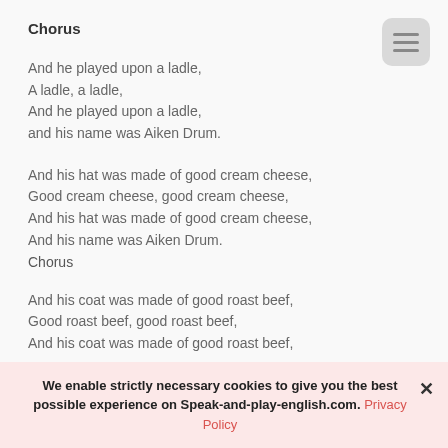Chorus
And he played upon a ladle,
A ladle, a ladle,
And he played upon a ladle,
and his name was Aiken Drum.
And his hat was made of good cream cheese,
Good cream cheese, good cream cheese,
And his hat was made of good cream cheese,
And his name was Aiken Drum.
Chorus
And his coat was made of good roast beef,
Good roast beef, good roast beef,
And his coat was made of good roast beef,
We enable strictly necessary cookies to give you the best possible experience on Speak-and-play-english.com. Privacy Policy